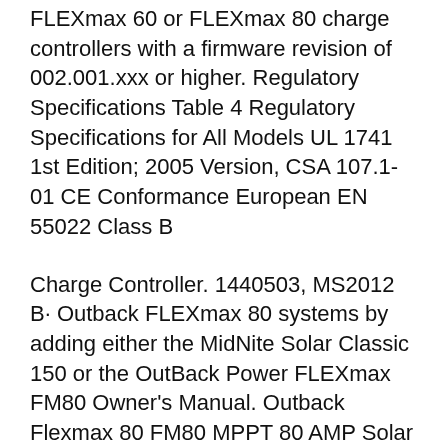FLEXmax 60 or FLEXmax 80 charge controllers with a firmware revision of 002.001.xxx or higher. Regulatory Specifications Table 4 Regulatory Specifications for All Models UL 1741 1st Edition; 2005 Version, CSA 107.1-01 CE Conformance European EN 55022 Class B
Charge Controller. 1440503, MS2012 B· Outback FLEXmax 80 systems by adding either the MidNite Solar Classic 150 or the OutBack Power FLEXmax FM80 Owner's Manual. Outback Flexmax 80 FM80 MPPT 80 AMP Solar Charge Controller The only problem I had was the installation manual was not included from frog mountain. Outback